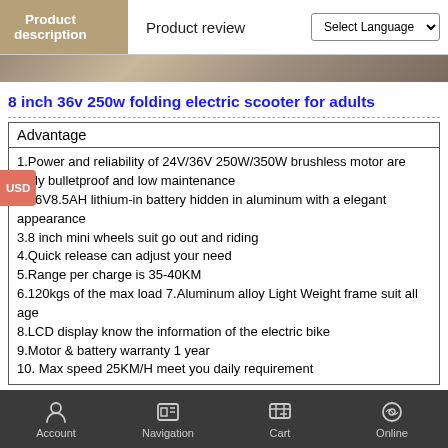Product description | Product review | Select Language
[Figure (photo): Partial view of a product image strip at top]
8 inch 36v 250w folding electric scooter for adults
| Advantage |
| --- |
| 1.Power and reliability of 24V/36V 250W/350W brushless motor are fairly bulletproof and low maintenance
2.36V8.5AH lithium-in battery hidden in aluminum with a elegant appearance
3.8 inch mini wheels suit go out and riding
4.Quick release can adjust your need
5.Range per charge is 35-40KM
6.120kgs of the max load 7.Aluminum alloy Light Weight frame suit all age
8.LCD display know the information of the electric bike
9.Motor & battery warranty 1 year
10. Max speed 25KM/H meet you daily requirement |
Product Overviews
Detail Images
Account | Navigation | Cart | Online